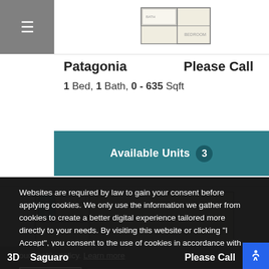[Figure (illustration): Floor plan schematic of Patagonia apartment unit shown at top of page]
Patagonia
Please Call
1 Bed, 1 Bath, 0 - 635 Sqft
Available Units 3
[Figure (illustration): Floor plan schematic of second apartment unit (Saguaro) with bathroom and room layout visible]
Websites are required by law to gain your consent before applying cookies. We only use the information we gather from cookies to create a better digital experience tailored more directly to your needs. By visiting this website or clicking "I Accept", you consent to the use of cookies in accordance with our cookie policy. Learn more
I accept
Schedule Appointment
3D
Saguaro
Please Call